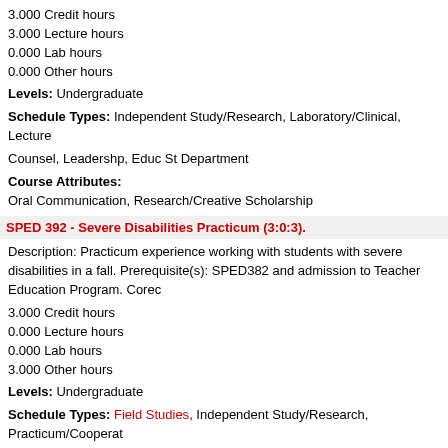3.000 Credit hours
3.000 Lecture hours
0.000 Lab hours
0.000 Other hours
Levels: Undergraduate
Schedule Types: Independent Study/Research, Laboratory/Clinical, Lecture
Counsel, Leadershp, Educ St Department
Course Attributes:
Oral Communication, Research/Creative Scholarship
SPED 392 - Severe Disabilities Practicum (3:0:3).
Description: Practicum experience working with students with severe disabilities in a fall. Prerequisite(s): SPED382 and admission to Teacher Education Program. Corec
3.000 Credit hours
0.000 Lecture hours
0.000 Lab hours
3.000 Other hours
Levels: Undergraduate
Schedule Types: Field Studies, Independent Study/Research, Practicum/Cooperat
Counsel, Leadershp, Educ St Department
SPED 393 - Practicum in Learning Disabilities (3:0:6).
Description: Practicum experience working with students with learning disabilities in Offered fall, spring, and summer.
3.000 Credit hours